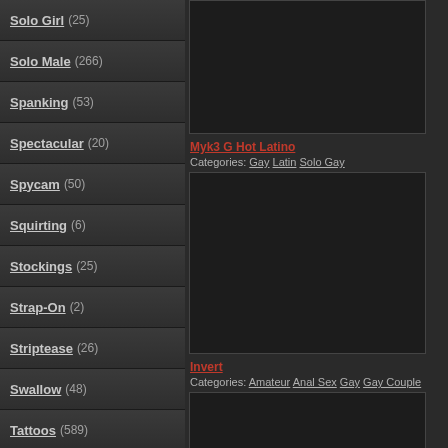Solo Girl (25)
Solo Male (266)
Spanking (53)
Spectacular (20)
Spycam (50)
Squirting (6)
Stockings (25)
Strap-On (2)
Striptease (26)
Swallow (48)
Tattoos (589)
Teen (514)
Threesome (20)
Toilet (39)
Toys (394)
Uniform (134)
Vaginal Masturbation (9)
[Figure (screenshot): Video thumbnail placeholder dark rectangle]
Myk3 G Hot Latino
Categories: Gay Latin Solo Gay
[Figure (screenshot): Video thumbnail placeholder dark rectangle tall]
Invert
Categories: Amateur Anal Sex Gay Gay Couple
[Figure (screenshot): Video thumbnail placeholder dark rectangle bottom]